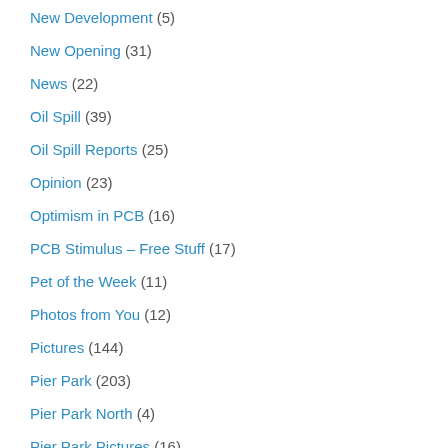New Development (5)
New Opening (31)
News (22)
Oil Spill (39)
Oil Spill Reports (25)
Opinion (23)
Optimism in PCB (16)
PCB Stimulus – Free Stuff (17)
Pet of the Week (11)
Photos from You (12)
Pictures (144)
Pier Park (203)
Pier Park North (4)
Pier Park Pictures (16)